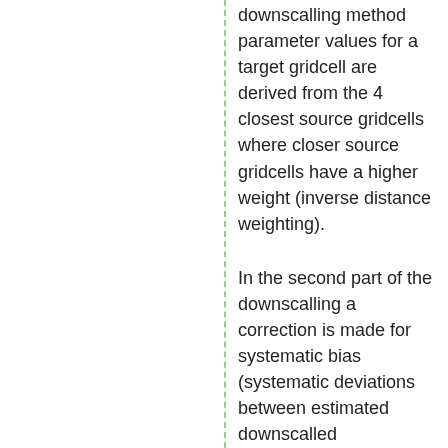downscalling method parameter values for a target gridcell are derived from the 4 closest source gridcells where closer source gridcells have a higher weight (inverse distance weighting).
In the second part of the downscalling a correction is made for systematic bias (systematic deviations between estimated downscalled...